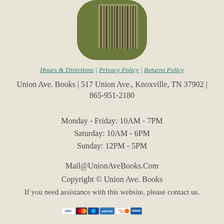[Figure (logo): Union Ave. Books logo: olive green rounded rectangle shape with vertical barcode-like lines inside]
Hours & Directions | Privacy Policy | Returns Policy
Union Ave. Books | 517 Union Ave., Knoxville, TN 37902 | 865-951-2180
Monday - Friday: 10AM - 7PM
Saturday: 10AM - 6PM
Sunday: 12PM - 5PM
Mail@UnionAveBooks.Com
Copyright © Union Ave. Books
If you need assistance with this website, please contact us.
[Figure (other): Yellow Donate button with PayPal styling and payment card icons below (Visa, Mastercard, etc.)]